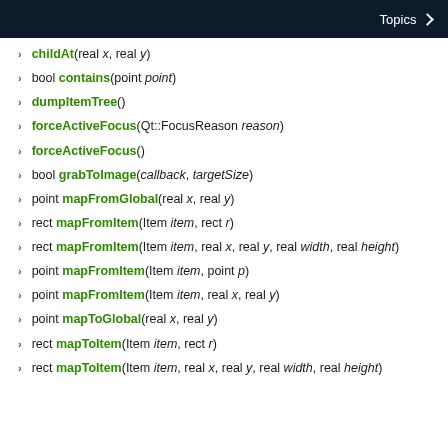Topics
childAt(real x, real y)
bool contains(point point)
dumpItemTree()
forceActiveFocus(Qt::FocusReason reason)
forceActiveFocus()
bool grabToImage(callback, targetSize)
point mapFromGlobal(real x, real y)
rect mapFromItem(Item item, rect r)
rect mapFromItem(Item item, real x, real y, real width, real height)
point mapFromItem(Item item, point p)
point mapFromItem(Item item, real x, real y)
point mapToGlobal(real x, real y)
rect mapToItem(Item item, rect r)
rect mapToItem(Item item, real x, real y, real width, real height)